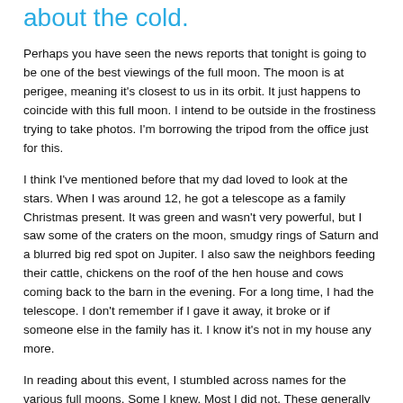about the cold.
Perhaps you have seen the news reports that tonight is going to be one of the best viewings of the full moon. The moon is at perigee, meaning it's closest to us in its orbit. It just happens to coincide with this full moon. I intend to be outside in the frostiness trying to take photos. I'm borrowing the tripod from the office just for this.
I think I've mentioned before that my dad loved to look at the stars. When I was around 12, he got a telescope as a family Christmas present. It was green and wasn't very powerful, but I saw some of the craters on the moon, smudgy rings of Saturn and a blurred big red spot on Jupiter. I also saw the neighbors feeding their cattle, chickens on the roof of the hen house and cows coming back to the barn in the evening. For a long time, I had the telescope. I don't remember if I gave it away, it broke or if someone else in the family has it. I know it's not in my house any more.
In reading about this event, I stumbled across names for the various full moons. Some I knew. Most I did not. These generally take their names from Native American tribes, chiefly the Algonquin, who lived from the East Coast to Lake Superior. Native Americans marked the passing of